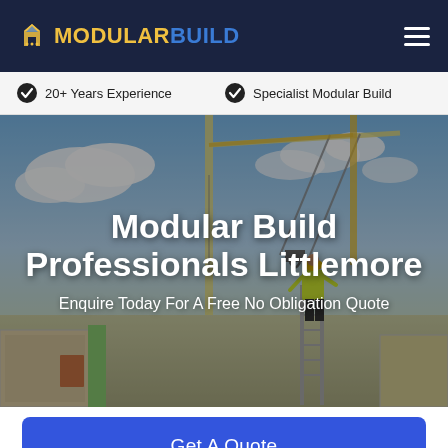MODULARBUILD — navigation logo and hamburger menu
20+ Years Experience
Specialist Modular Build
[Figure (photo): Construction site hero image showing a worker in a high-visibility vest on a ladder next to a crane lifting materials, against a partly cloudy sky, with modular building panels in the foreground]
Modular Build Professionals Littlemore
Enquire Today For A Free No Obligation Quote
Get A Quote